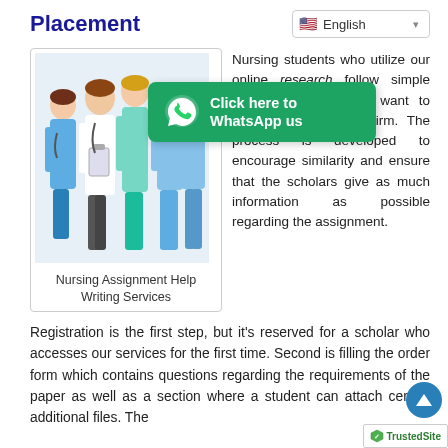Placement
[Figure (screenshot): English language selector dropdown with flag icon]
[Figure (photo): Group of nursing professionals in scrubs and white coats with stethoscopes]
Nursing Assignment Help Writing Services
[Figure (infographic): WhatsApp call-to-action button overlay: 'Click here to WhatsApp us']
Nursing students who utilize our online research follow simple procedure when they want to place orders on our firm. The process is developed to encourage similarity and ensure that the scholars give as much information as possible regarding the assignment.
Registration is the first step, but it's reserved for a scholar who accesses our services for the first time. Second is filling the order form which contains questions regarding the requirements of the paper as well as a section where a student can attach certain additional files. The